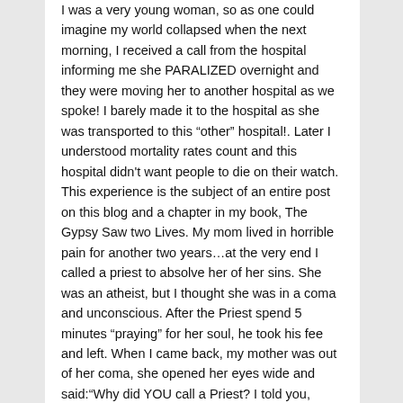I was a very young woman, so as one could imagine my world collapsed when the next morning, I received a call from the hospital informing me she PARALIZED overnight and they were moving her to another hospital as we spoke! I barely made it to the hospital as she was transported to this “other” hospital!. Later I understood mortality rates count and this hospital didn't want people to die on their watch.
This experience is the subject of an entire post on this blog and a chapter in my book, The Gypsy Saw two Lives. My mom lived in horrible pain for another two years…at the very end I called a priest to absolve her of her sins. She was an atheist, but I thought she was in a coma and unconscious. After the Priest spend 5 minutes “praying” for her soul, he took his fee and left. When I came back, my mother was out of her coma, she opened her eyes wide and said:“Why did YOU call a Priest? I told you, there is no God. If it were, my life would have been different!” Then she died.
A heavy burden for a young woman to bear and even today, although God made himself shown in many circumstances of my life, we have an up and down